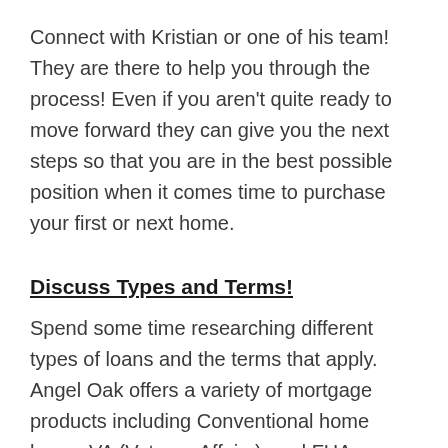Connect with Kristian or one of his team! They are there to help you through the process! Even if you aren't quite ready to move forward they can give you the next steps so that you are in the best possible position when it comes time to purchase your first or next home.
Discuss Types and Terms!
Spend some time researching different types of loans and the terms that apply. Angel Oak offers a variety of mortgage products including Conventional home loans, VA (Veteran Affairs), and FHA (Federal Housing Administration) in addition to some other loans that are not so common, but may be useful if your circumstances